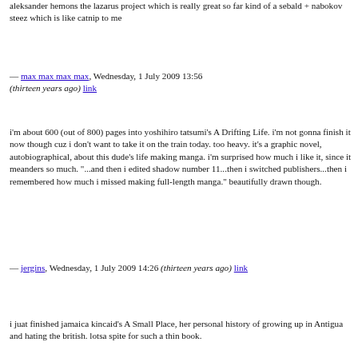aleksander hemons the lazarus project which is really great so far kind of a sebald + nabokov steez which is like catnip to me
— max max max max, Wednesday, 1 July 2009 13:56 (thirteen years ago) link
i'm about 600 (out of 800) pages into yoshihiro tatsumi's A Drifting Life. i'm not gonna finish it now though cuz i don't want to take it on the train today. too heavy. it's a graphic novel, autobiographical, about this dude's life making manga. i'm surprised how much i like it, since it meanders so much. "...and then i edited shadow number 11...then i switched publishers...then i remembered how much i missed making full-length manga." beautifully drawn though.
— jergins, Wednesday, 1 July 2009 14:26 (thirteen years ago) link
i juat finished jamaica kincaid's A Small Place, her personal history of growing up in Antigua and hating the british. lotsa spite for such a thin book.